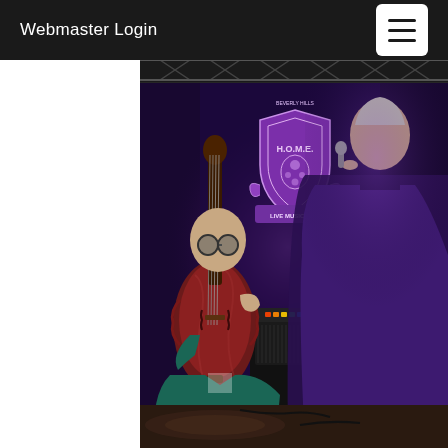Webmaster Login
[Figure (photo): Two musicians performing on a dimly lit stage. On the left, a bald musician in a teal/green jacket plays a large upright double bass. On the right, a man in a dark purple/navy shirt holds a microphone and sings. In the background is an illuminated purple shield-shaped logo reading H.O.M.E. with 'LIVE MUSIC & F...' text below. Stage lighting and truss are visible at the top. An amplifier is on stage between the performers.]